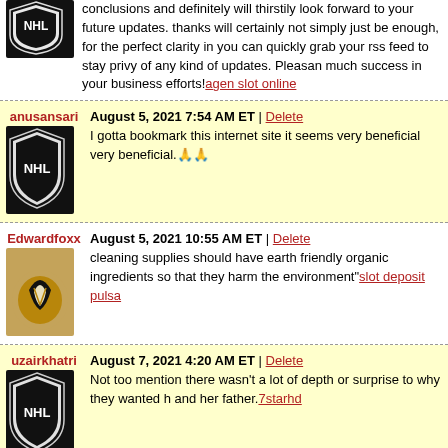conclusions and definitely will thirstily look forward to your future updates. thanks will certainly not simply just be enough, for the perfect clarity in your can quickly grab your rss feed to stay privy of any kind of updates. Pleasant much success in your business efforts! agen slot online
anusansari — August 5, 2021 7:54 AM ET | Delete
I gotta bookmark this internet site it seems very beneficial very beneficial.🙏
Edwardfoxx — August 5, 2021 10:55 AM ET | Delete
cleaning supplies should have earth friendly organic ingredients so that they harm the environment "slot deposit pulsa"
uzairkhatri — August 7, 2021 4:20 AM ET | Delete
Not too mention there wasn't a lot of depth or surprise to why they wanted h and her father. 7starhd
Edwardfoxx — August 7, 2021 7:02 AM ET | Delete